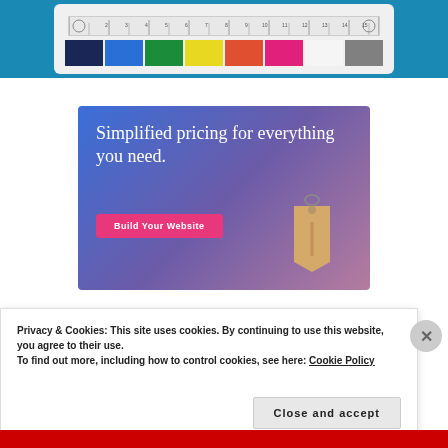[Figure (photo): Color calibration card with ruler and color swatches on a blue background]
[Figure (photo): Advertisement banner with gradient blue-purple background, text 'Simplified pricing for everything you need.', a pink 'Build Your Website' button, and a tan price tag graphic]
Privacy & Cookies: This site uses cookies. By continuing to use this website, you agree to their use.
To find out more, including how to control cookies, see here: Cookie Policy
Close and accept